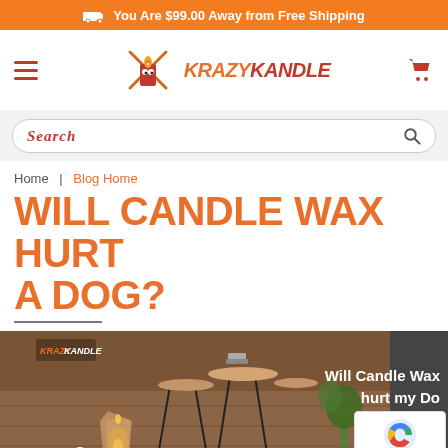You Are $99.00 Away from Free Shipping
[Figure (logo): Krazy Kandle logo with cartoon candle mascot and brand name]
Search
Home | Blog Home
Will Candle Wax Hurt A Dog?
[Figure (photo): Blog post hero image showing candles in lanterns on a wooden side table with text overlay: Will Candle Wax hurt my Dog?]